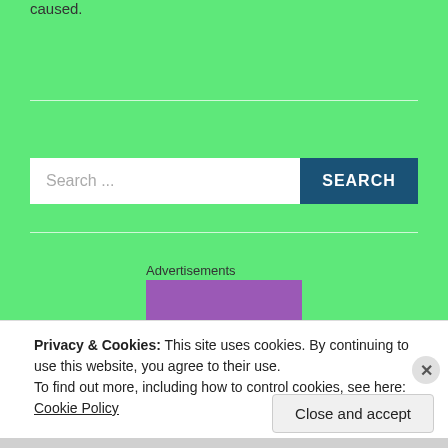caused.
[Figure (screenshot): Search bar with white input field showing 'Search ...' placeholder and dark blue SEARCH button]
Advertisements
[Figure (other): Purple advertisement box]
Privacy & Cookies: This site uses cookies. By continuing to use this website, you agree to their use. To find out more, including how to control cookies, see here: Cookie Policy
Close and accept